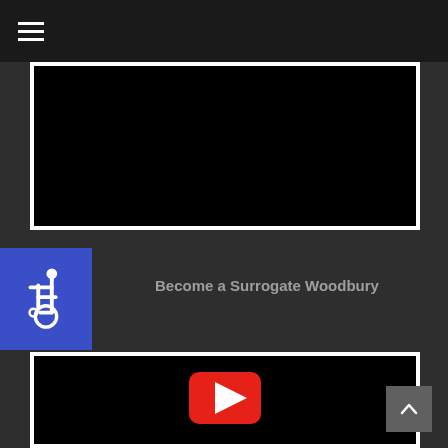≡
[Figure (screenshot): Black video player area at top]
Become a Surrogate Woodbury
[Figure (screenshot): Accessibility wheelchair icon on blue background]
[Figure (screenshot): YouTube video embed with play button on black background]